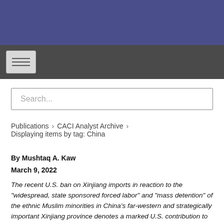[Figure (screenshot): Blue header banner at top of webpage]
[Figure (screenshot): Dark navigation bar with hamburger menu button]
Search...
Publications   CACI Analyst Archive   Displaying items by tag: China
By Mushtaq A. Kaw
March 9, 2022
The recent U.S. ban on Xinjiang imports in reaction to the "widespread, state sponsored forced labor" and "mass detention" of the ethnic Muslim minorities in China's far-western and strategically important Xinjiang province denotes a marked U.S. contribution to the international protest against Chinese human rights abuses in Xinjiang. However, international